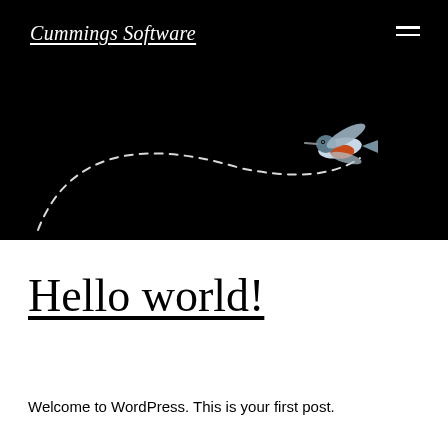Cummings Software
[Figure (illustration): Black background hero image with a small hummingbird (blue, white, orange) flying from the right side, trailing a dashed curved arc path sweeping left and downward across the dark background.]
Hello world!
Welcome to WordPress. This is your first post.